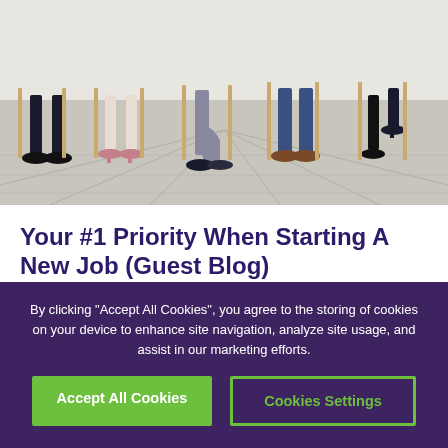[Figure (photo): People sitting in chairs in a row, showing only their legs and lower bodies against a light tiled floor background — a waiting room scene.]
Your #1 Priority When Starting A New Job (Guest Blog)
Want to make a great impression at your new job? There's one key thing you should be prioritising.
By clicking "Accept All Cookies", you agree to the storing of cookies on your device to enhance site navigation, analyze site usage, and assist in our marketing efforts.